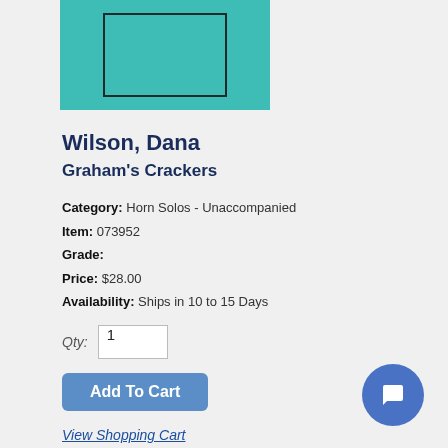[Figure (illustration): Product image placeholder: teal/turquoise rectangle with a smaller rectangle border inside it]
Wilson, Dana
Graham's Crackers
Category: Horn Solos - Unaccompanied
Item: 073952
Grade:
Price: $28.00
Availability: Ships in 10 to 15 Days
Qty: 1
Add To Cart
View Shopping Cart